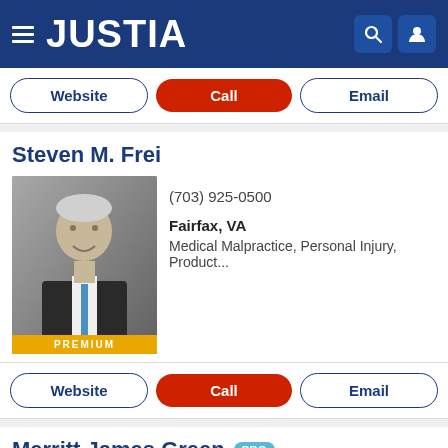JUSTIA
Website | Call | Email
Steven M. Frei
[Figure (photo): Professional headshot of Steven M. Frei, an older man in a dark suit with a blue tie, PREMIUM badge below]
(703) 925-0500
Fairfax, VA
Medical Malpractice, Personal Injury, Product...
Website | Call | Email
Merritt James Green PRO
[Figure (photo): Professional headshot of Merritt James Green, a man with blonde hair and glasses]
McLean, VA
(703) 556-0411
Business Law, Employment Law, Divorce, Fami...